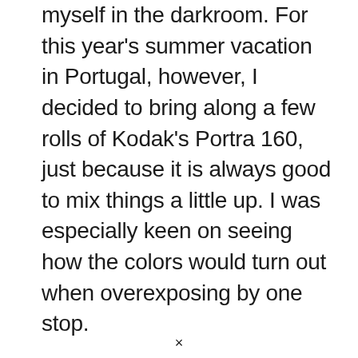myself in the darkroom. For this year's summer vacation in Portugal, however, I decided to bring along a few rolls of Kodak's Portra 160, just because it is always good to mix things a little up. I was especially keen on seeing how the colors would turn out when overexposing by one stop.
×